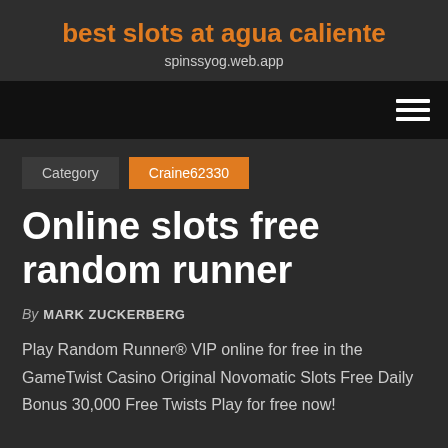best slots at agua caliente
spinssyog.web.app
Category   Craine62330
Online slots free random runner
By MARK ZUCKERBERG
Play Random Runner® VIP online for free in the GameTwist Casino Original Novomatic Slots Free Daily Bonus 30,000 Free Twists Play for free now!